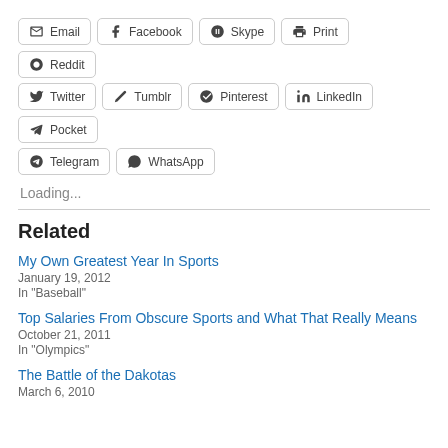[Figure (other): Row of social sharing buttons: Email, Facebook, Skype, Print, Reddit, Twitter, Tumblr, Pinterest, LinkedIn, Pocket, Telegram, WhatsApp]
Loading...
Related
My Own Greatest Year In Sports
January 19, 2012
In "Baseball"
Top Salaries From Obscure Sports and What That Really Means
October 21, 2011
In "Olympics"
The Battle of the Dakotas
March 6, 2010